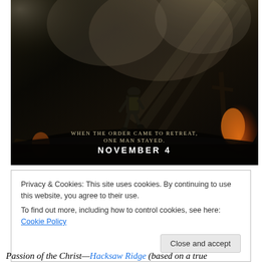[Figure (photo): Movie promotional image for Hacksaw Ridge showing a soldier in military gear running across a war-torn battlefield with smoke, fire, and debris. Text overlay reads: 'WHEN THE ORDER CAME TO RETREAT, ONE MAN STAYED.' and 'NOVEMBER 4']
Privacy & Cookies: This site uses cookies. By continuing to use this website, you agree to their use.
To find out more, including how to control cookies, see here: Cookie Policy
Close and accept
Passion of the Christ—Hacksaw Ridge (based on a true